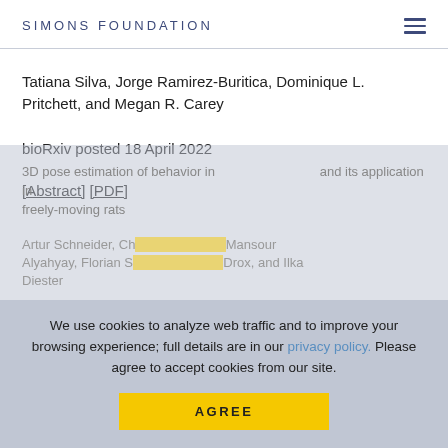SIMONS FOUNDATION
Tatiana Silva, Jorge Ramirez-Buritica, Dominique L. Pritchett, and Megan R. Carey
bioRxiv posted 18 April 2022
[Abstract] [PDF]
3D pose estimation of behavior in freely-moving rats and its application in...
Artur Schneider, Ch... Mansour Alyahyay, Florian S... Drox, and Ilka Diester
We use cookies to analyze web traffic and to improve your browsing experience; full details are in our privacy policy. Please agree to accept cookies from our site.